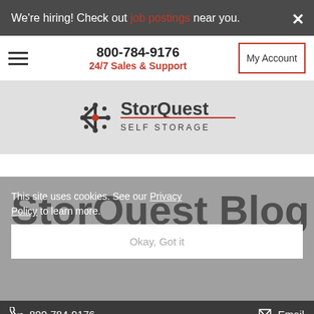We're hiring! Check out job postings near you.
800-784-9176 24/7 Sales & Support
My Account
[Figure (logo): StorQuest Self Storage logo with snowflake/star emblem in dark gray and red]
StorQuest Blog
This site uses cookies. See our Privacy Policy to learn more.
Okay, Got it
800-784-9176  Email